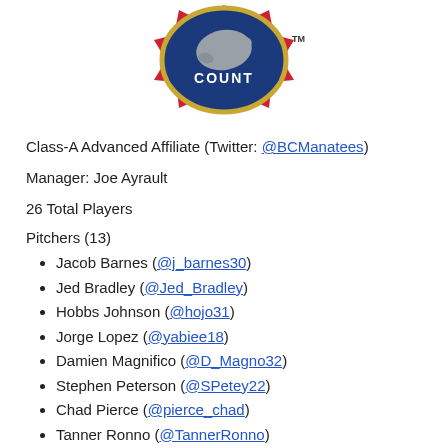[Figure (logo): Brevard County Manatees baseball team logo with red, blue, gold colors and TM mark]
Class-A Advanced Affiliate (Twitter: @BCManatees)
Manager: Joe Ayrault
26 Total Players
Pitchers (13)
Jacob Barnes (@j_barnes30)
Jed Bradley (@Jed_Bradley)
Hobbs Johnson (@hojo31)
Jorge Lopez (@yabiee18)
Damien Magnifico (@D_Magno32)
Stephen Peterson (@SPetey22)
Chad Pierce (@pierce_chad)
Tanner Ronno (@TannerRonno)